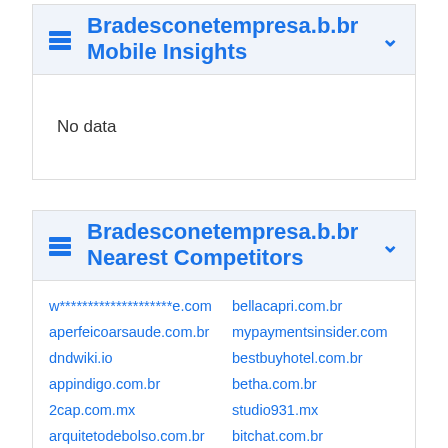Bradesconetempresa.b.br Mobile Insights
No data
Bradesconetempresa.b.br Nearest Competitors
w********************e.com
bellacapri.com.br
aperfeicoarsaude.com.br
mypaymentsinsider.com
dndwiki.io
bestbuyhotel.com.br
appindigo.com.br
betha.com.br
2cap.com.mx
studio931.mx
arquitetodebolso.com.br
bitchat.com.br
gplzone.com
techgames.com.mx
atrupe.com.br
booqlab.com.br
grupordas.com.mx
cdnbeta.in